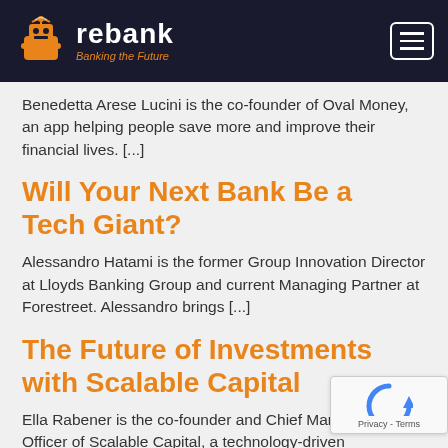[Figure (logo): Rebank logo with robot icon, text 'rebank' and tagline 'Banking the Future' on dark navy background, with hamburger menu button on right]
Benedetta Arese Lucini is the co-founder of Oval Money, an app helping people save more and improve their financial lives. [...]
Will Your Next Bank Be a Tech Giant?
Alessandro Hatami is the former Group Innovation Director at Lloyds Banking Group and current Managing Partner at Forestreet. Alessandro brings [...]
The Future of Investments with Scalable Capital
Ella Rabener is the co-founder and Chief Marketing Officer of Scalable Capital, a technology-driven